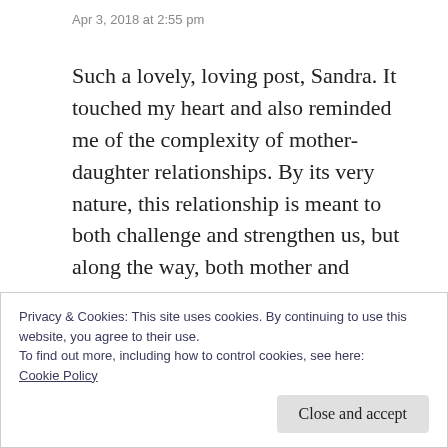Apr 3, 2018 at 2:55 pm
Such a lovely, loving post, Sandra. It touched my heart and also reminded me of the complexity of mother-daughter relationships. By its very nature, this relationship is meant to both challenge and strengthen us, but along the way, both mother and daughter get tested and sometimes bruised. I’m also reminded that parenthood requires humans to be saints at the very time when they are still figuring out what
Privacy & Cookies: This site uses cookies. By continuing to use this website, you agree to their use.
To find out more, including how to control cookies, see here:
Cookie Policy
Close and accept